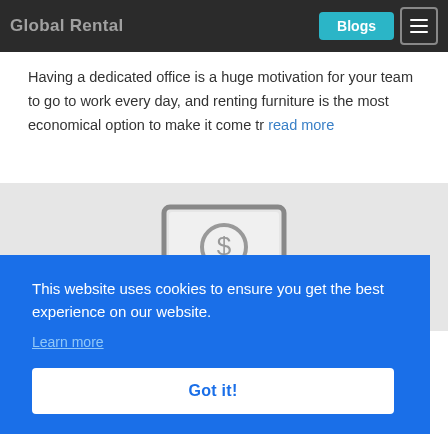Global Rental | Blogs
Having a dedicated office is a huge motivation for your team to go to work every day, and renting furniture is the most economical option to make it come tr read more
[Figure (illustration): A grey card section with an icon depicting a laptop/monitor with a dollar sign symbol, representing rental or financial services.]
...s now a wide selection of consoles for gamers to try. Let's take a look at
This website uses cookies to ensure you get the best experience on our website. Learn more  Got it!